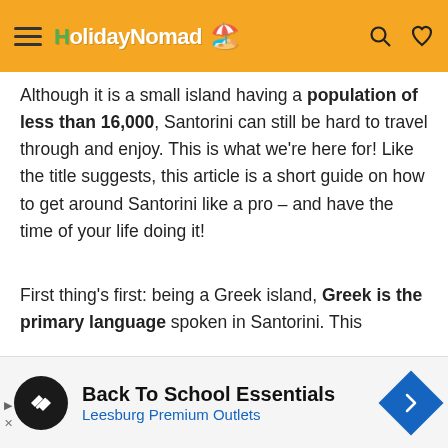HolidayNomad - navigation header with hamburger menu, logo, search and heart icons
Although it is a small island having a population of less than 16,000, Santorini can still be hard to travel through and enjoy. This is what we're here for! Like the title suggests, this article is a short guide on how to get around Santorini like a pro – and have the time of your life doing it!
First thing's first: being a Greek island, Greek is the primary language spoken in Santorini. This [partially visible] ally means that most signs and maps, etc. will
[Figure (screenshot): Advertisement banner: Back To School Essentials - Leesburg Premium Outlets with navigation arrow icon]